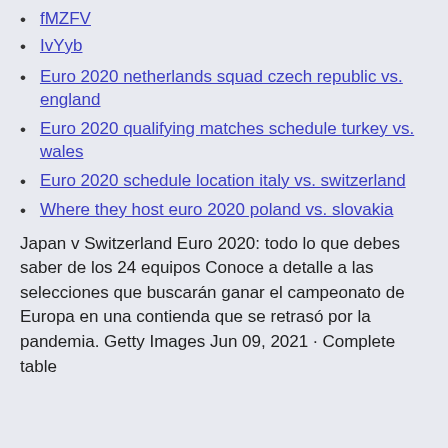fMZFV
IvYyb
Euro 2020 netherlands squad czech republic vs. england
Euro 2020 qualifying matches schedule turkey vs. wales
Euro 2020 schedule location italy vs. switzerland
Where they host euro 2020 poland vs. slovakia
Japan v Switzerland Euro 2020: todo lo que debes saber de los 24 equipos Conoce a detalle a las selecciones que buscarán ganar el campeonato de Europa en una contienda que se retrasó por la pandemia. Getty Images Jun 09, 2021 · Complete table